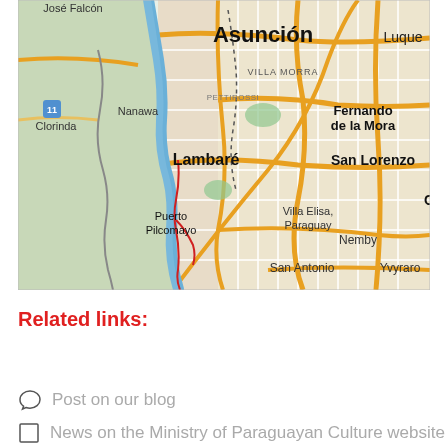[Figure (map): Google Maps view of Asunción, Paraguay and surrounding area including Lambaré, Fernando de la Mora, San Lorenzo, Puerto Pilcomayo, Nanawa, Clorinda, Luque, Villa Elisa, Nemby, Yvyraro, San Antonio, showing the Paraguay River.]
Related links:
Post on our blog
News on the Ministry of Paraguayan Culture website